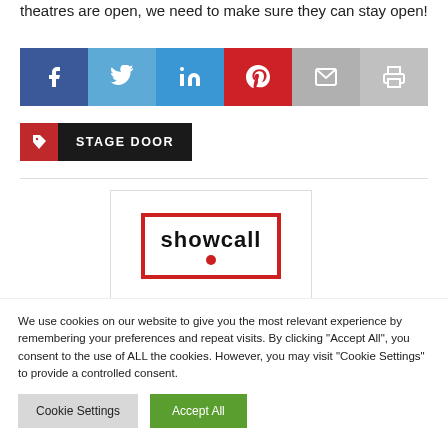theatres are open, we need to make sure they can stay open!
[Figure (infographic): Social sharing buttons: Facebook, Twitter, LinkedIn, Pinterest, Email, Print]
[Figure (logo): Stage Door tag icon and label button]
[Figure (logo): Showcall logo: red border box with 'showcall' text and red dot]
We use cookies on our website to give you the most relevant experience by remembering your preferences and repeat visits. By clicking "Accept All", you consent to the use of ALL the cookies. However, you may visit "Cookie Settings" to provide a controlled consent.